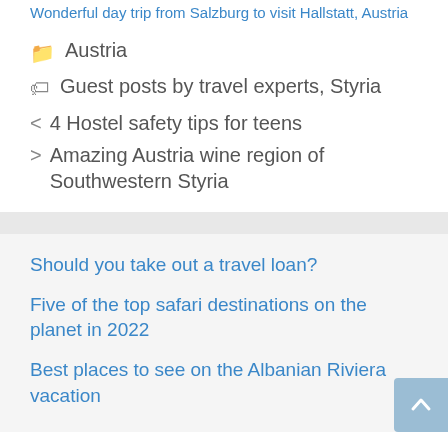Wonderful day trip from Salzburg to visit Hallstatt, Austria
Austria
Guest posts by travel experts, Styria
< 4 Hostel safety tips for teens
> Amazing Austria wine region of Southwestern Styria
Should you take out a travel loan?
Five of the top safari destinations on the planet in 2022
Best places to see on the Albanian Riviera vacation